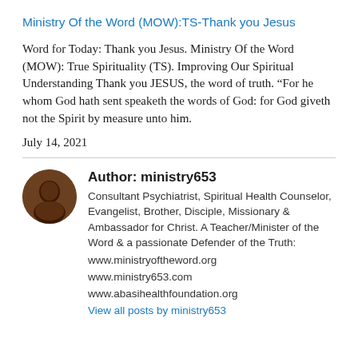Ministry Of the Word (MOW):TS-Thank you Jesus
Word for Today: Thank you Jesus. Ministry Of the Word (MOW): True Spirituality (TS). Improving Our Spiritual Understanding Thank you JESUS, the word of truth. “For he whom God hath sent speaketh the words of God: for God giveth not the Spirit by measure unto him.
July 14, 2021
Author: ministry653
Consultant Psychiatrist, Spiritual Health Counselor, Evangelist, Brother, Disciple, Missionary & Ambassador for Christ. A Teacher/Minister of the Word & a passionate Defender of the Truth:
www.ministryoftheword.org
www.ministry653.com
www.abasihealthfoundation.org
View all posts by ministry653